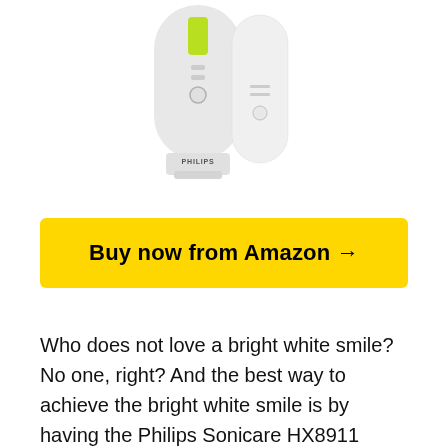[Figure (photo): Philips Sonicare electric toothbrush (white body with green accent) shown next to its charging dock, partially cropped at top]
Buy now from Amazon →
Who does not love a bright white smile? No one, right? And the best way to achieve the bright white smile is by having the Philips Sonicare HX8911 HealthyWhite+ Rechargeable